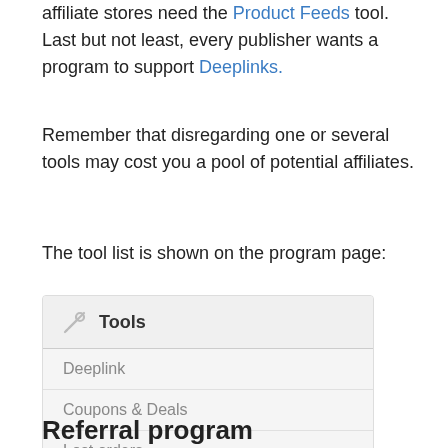affiliate stores need the Product Feeds tool. Last but not least, every publisher wants a program to support Deeplinks.
Remember that disregarding one or several tools may cost you a pool of potential affiliates.
The tool list is shown on the program page:
[Figure (screenshot): UI widget showing a Tools panel with three items: Deeplink, Coupons & Deals, Lost orders]
Referral program